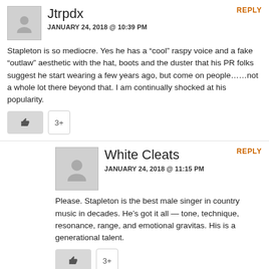REPLY
Jtrpdx
JANUARY 24, 2018 @ 10:39 PM
Stapleton is so mediocre. Yes he has a “cool” raspy voice and a fake “outlaw” aesthetic with the hat, boots and the duster that his PR folks suggest he start wearing a few years ago, but come on people……not a whole lot there beyond that. I am continually shocked at his popularity.
3+
REPLY
White Cleats
JANUARY 24, 2018 @ 11:15 PM
Please. Stapleton is the best male singer in country music in decades. He’s got it all — tone, technique, resonance, range, and emotional gravitas. His is a generational talent.
3+
REPLY
Marc
JANUARY 25, 2018 @ 12:21 AM
“Best male singer in country music in decades” is up for